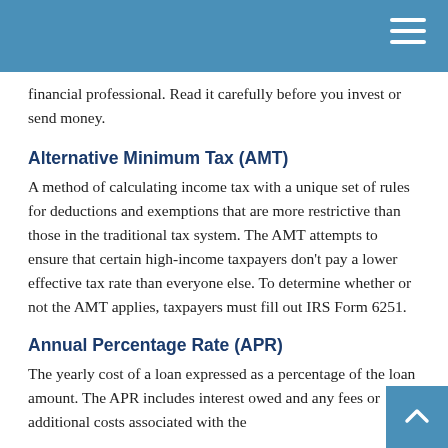financial professional. Read it carefully before you invest or send money.
Alternative Minimum Tax (AMT)
A method of calculating income tax with a unique set of rules for deductions and exemptions that are more restrictive than those in the traditional tax system. The AMT attempts to ensure that certain high-income taxpayers don't pay a lower effective tax rate than everyone else. To determine whether or not the AMT applies, taxpayers must fill out IRS Form 6251.
Annual Percentage Rate (APR)
The yearly cost of a loan expressed as a percentage of the loan amount. The APR includes interest owed and any fees or additional costs associated with the